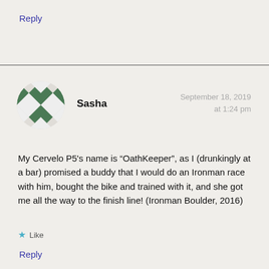Reply
[Figure (illustration): Circular avatar with green and white checkered diamond pattern]
Sasha
September 18, 2019
at 1:24 pm
My Cervelo P5’s name is “OathKeeper”, as I (drunkingly at a bar) promised a buddy that I would do an Ironman race with him, bought the bike and trained with it, and she got me all the way to the finish line! (Ironman Boulder, 2016)
★ Like
Reply